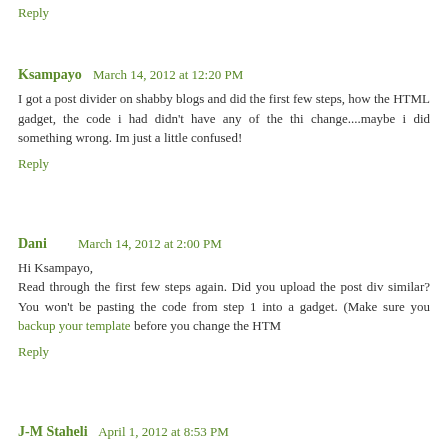Reply
Ksampayo  March 14, 2012 at 12:20 PM
I got a post divider on shabby blogs and did the first few steps, how the HTML gadget, the code i had didn't have any of the thi change....maybe i did something wrong. Im just a little confused!
Reply
Dani     March 14, 2012 at 2:00 PM
Hi Ksampayo,
Read through the first few steps again. Did you upload the post div similar? You won't be pasting the code from step 1 into a gadget. (Make sure you backup your template before you change the HTM
Reply
J-M Staheli  April 1, 2012 at 8:53 PM
So i tried your tutorial and the post divider uploaded underneat showed up at the top of the sidebar gadget pictures?? I don't know help me please?!
Reply